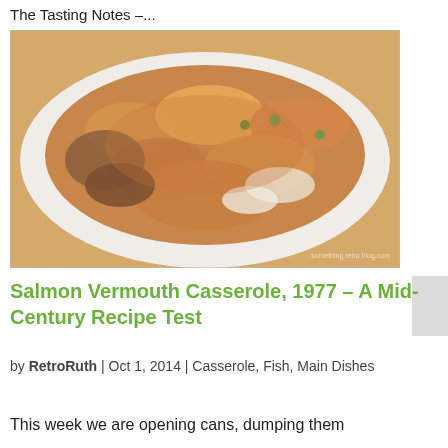The Tasting Notes –...
[Figure (photo): Close-up photo of a salmon vermouth casserole dish with shell-shaped pasta, salmon, and green peas on a white plate. Watermark visible in lower right corner.]
Salmon Vermouth Casserole, 1977 – A Mid-Century Recipe Test
by RetroRuth | Oct 1, 2014 | Casserole, Fish, Main Dishes
This week we are opening cans, dumping them